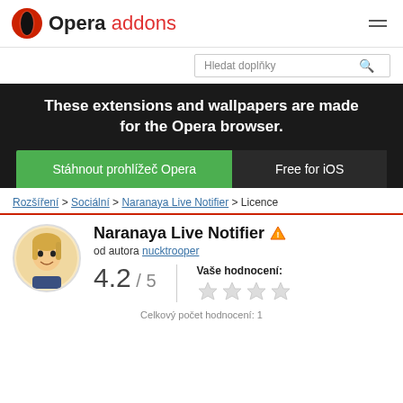[Figure (logo): Opera addons logo with red O icon and text 'Opera addons']
Hledat doplňky
[Figure (screenshot): Dark banner: 'These extensions and wallpapers are made for the Opera browser.' with green download button 'Stáhnout prohlížeč Opera' and 'Free for iOS']
Rozšíření > Sociální > Naranaya Live Notifier > Licence
Naranaya Live Notifier
od autora nucktrooper
4.2 / 5
Vaše hodnocení:
Celkový počet hodnocení: 1